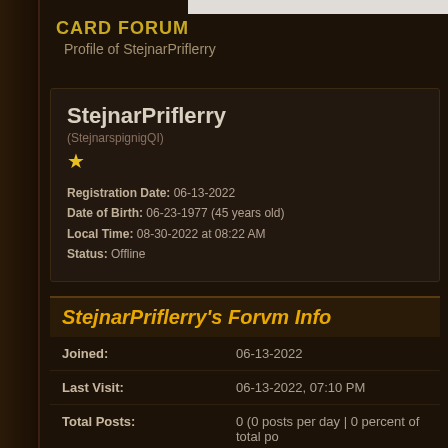CARD FORUM
  Profile of StejnarPriflerry
StejnarPriflerry
(StejnarspignigQI)
★
Registration Date: 06-13-2022
Date of Birth: 06-23-1977 (45 years old)
Local Time: 08-30-2022 at 08:22 AM
Status: Offline
StejnarPriflerry's Forvm Info
| Field | Value |
| --- | --- |
| Joined: | 06-13-2022 |
| Last Visit: | 06-13-2022, 07:10 PM |
| Total Posts: | 0 (0 posts per day | 0 percent of total po |
| Total Threads: | 0 (0 threads per day | 0 percent of total |